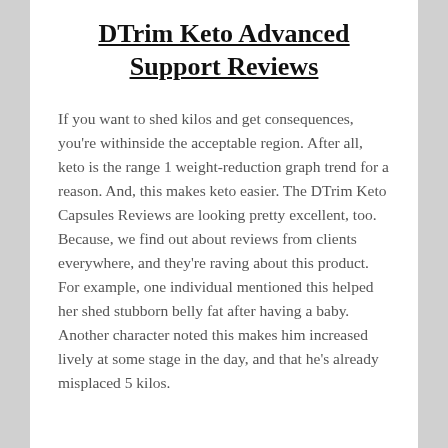DTrim Keto Advanced Support Reviews
If you want to shed kilos and get consequences, you're withinside the acceptable region. After all, keto is the range 1 weight-reduction graph trend for a reason. And, this makes keto easier. The DTrim Keto Capsules Reviews are looking pretty excellent, too. Because, we find out about reviews from clients everywhere, and they're raving about this product. For example, one individual mentioned this helped her shed stubborn belly fat after having a baby. Another character noted this makes him increased lively at some stage in the day, and that he's already misplaced 5 kilos.